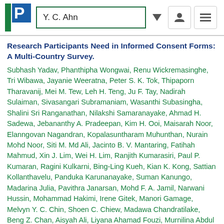Y. C. Ahn
Research Participants Need in Informed Consent Forms: A Multi-Country Survey.
Subhash Yadav, Phanthipha Wongwai, Renu Wickremasinghe, Tri Wibawa, Jayanie Weeratna, Peter S. K. Tok, Thipaporn Tharavanij, Mei M. Tew, Leh H. Teng, Ju F. Tay, Nadirah Sulaiman, Sivasangari Subramaniam, Wasanthi Subasingha, Shalini Sri Ranganathan, Nilakshi Samaranayake, Ahmad H. Sadewa, Jebananthy A. Pradeepan, Kim H. Ooi, Maisarah Noor, Elanngovan Nagandran, Kopalasuntharam Muhunthan, Nurain Mohd Noor, Siti M. Md Ali, Jacinto B. V. Mantaring, Fatihah Mahmud, Xin J. Lim, Wei H. Lim, Ranjith Kumarasiri, Paul P. Kumaran, Ragini Kulkarni, Bing-Ling Kueh, Kian K. Kong, Sattian Kollanthavelu, Panduka Karunanayake, Suman Kanungo, Madarina Julia, Pavithra Janarsan, Mohd F. A. Jamil, Narwani Hussin, Mohammad Hakimi, Irene Gitek, Manori Gamage, Melvyn Y. C. Chin, Shoen C. Chiew, Madawa Chandratilake, Beng Z. Chan, Aisyah Ali, Liyana Ahamad Fouzi, Murnilina Abdul Malek, Kwanchanok Yimtae, Chih-Shung Wong,